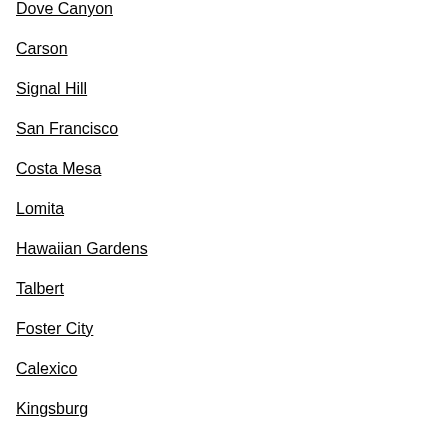Dove Canyon
Carson
Signal Hill
San Francisco
Costa Mesa
Lomita
Hawaiian Gardens
Talbert
Foster City
Calexico
Kingsburg